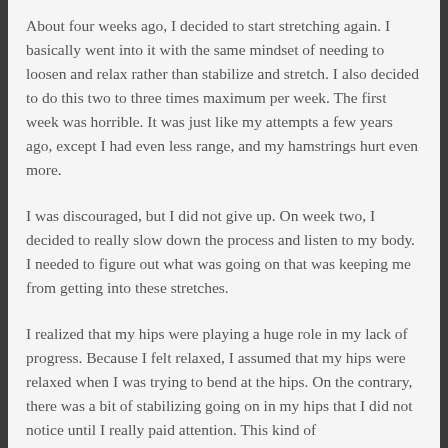About four weeks ago, I decided to start stretching again. I basically went into it with the same mindset of needing to loosen and relax rather than stabilize and stretch. I also decided to do this two to three times maximum per week. The first week was horrible. It was just like my attempts a few years ago, except I had even less range, and my hamstrings hurt even more.
I was discouraged, but I did not give up. On week two, I decided to really slow down the process and listen to my body. I needed to figure out what was going on that was keeping me from getting into these stretches.
I realized that my hips were playing a huge role in my lack of progress. Because I felt relaxed, I assumed that my hips were relaxed when I was trying to bend at the hips. On the contrary, there was a bit of stabilizing going on in my hips that I did not notice until I really paid attention. This kind of